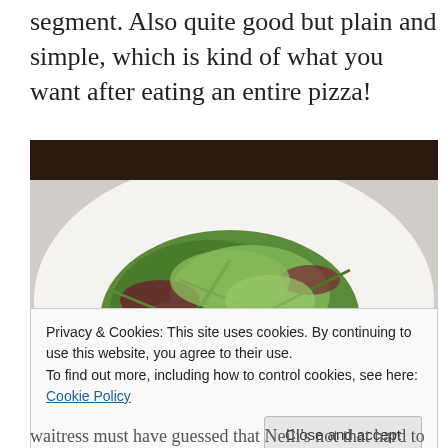segment. Also quite good but plain and simple, which is kind of what you want after eating an entire pizza!
[Figure (photo): A plate of mixed green salad leaves including spinach, radicchio, and other greens, with a piece of orange citrus segment visible on the right side, served on a white plate.]
Privacy & Cookies: This site uses cookies. By continuing to use this website, you agree to their use.
To find out more, including how to control cookies, see here: Cookie Policy
waitress must have guessed that Neili's not that hard to